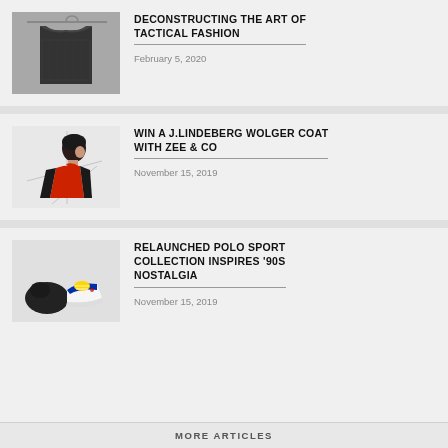[Figure (photo): Black tactical jacket on a hanger against a light background]
DECONSTRUCTING THE ART OF TACTICAL FASHION
February 5, 2020
[Figure (photo): Man wearing a red turtleneck and black coat, side profile with geometric lines in background]
WIN A J.LINDEBERG WOLGER COAT WITH ZEE & CO
November 15, 2019
[Figure (photo): Polo Sport collection items including gloves and colorful sneakers on white background]
RELAUNCHED POLO SPORT COLLECTION INSPIRES '90S NOSTALGIA
November 15, 2019
MORE ARTICLES